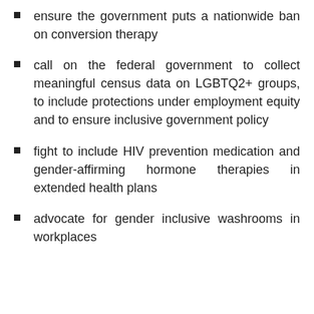ensure the government puts a nationwide ban on conversion therapy
call on the federal government to collect meaningful census data on LGBTQ2+ groups, to include protections under employment equity and to ensure inclusive government policy
fight to include HIV prevention medication and gender-affirming hormone therapies in extended health plans
advocate for gender inclusive washrooms in workplaces